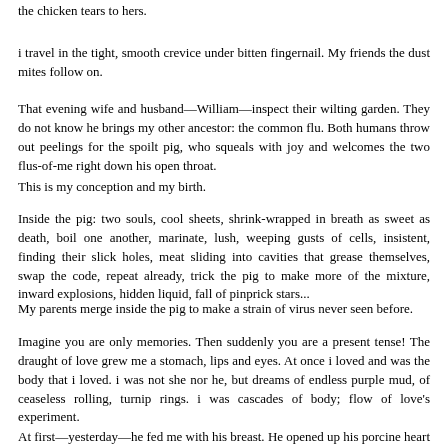the chicken tears to hers.
i travel in the tight, smooth crevice under bitten fingernail. My friends the dust mites follow on.
That evening wife and husband—William—inspect their wilting garden. They do not know he brings my other ancestor: the common flu. Both humans throw out peelings for the spoilt pig, who squeals with joy and welcomes the two flus-of-me right down his open throat.
This is my conception and my birth.
Inside the pig: two souls, cool sheets, shrink-wrapped in breath as sweet as death, boil one another, marinate, lush, weeping gusts of cells, insistent, finding their slick holes, meat sliding into cavities that grease themselves, swap the code, repeat already, trick the pig to make more of the mixture, inward explosions, hidden liquid, fall of pinprick stars...
My parents merge inside the pig to make a strain of virus never seen before.
Imagine you are only memories. Then suddenly you are a present tense! The draught of love grew me a stomach, lips and eyes. At once i loved and was the body that i loved. i was not she nor he, but dreams of endless purple mud, of ceaseless rolling, turnip rings. i was cascades of body; flow of love's experiment.
At first—yesterday—he fed me with his breast. He opened up his porcine heart and there i